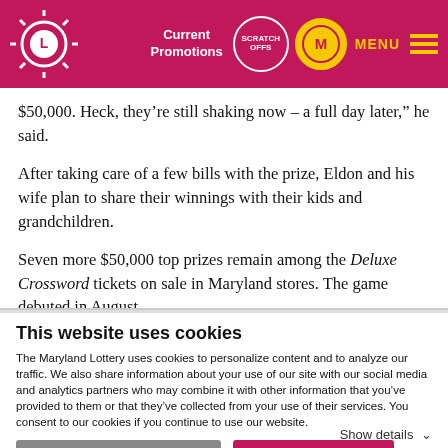Maryland Lottery — Current Promotions | Scratch Offs | My Rewards | MENU
$50,000. Heck, they’re still shaking now – a full day later,” he said.
After taking care of a few bills with the prize, Eldon and his wife plan to share their winnings with their kids and grandchildren.
Seven more $50,000 top prizes remain among the Deluxe Crossword tickets on sale in Maryland stores. The game debuted in August.
This website uses cookies
The Maryland Lottery uses cookies to personalize content and to analyze our traffic. We also share information about your use of our site with our social media and analytics partners who may combine it with other information that you’ve provided to them or that they’ve collected from your use of their services. You consent to our cookies if you continue to use our website.
Use necessary cookies only | Allow all cookies
Show details